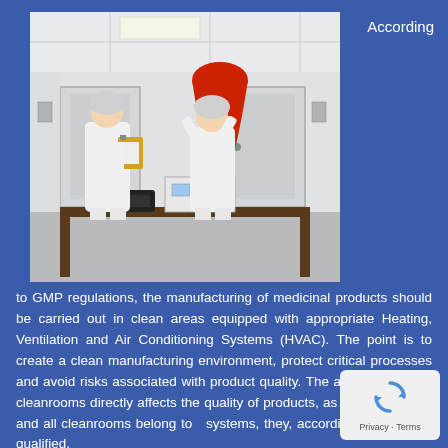[Figure (photo): Two workers in white cleanroom suits and hair covers inside a cleanroom. One holds a clipboard, the other holds a large red cone-shaped device measuring an air vent. Equipment and cases are on a table in the foreground.]
According
to GMP regulations, the manufacturing of medicinal products should be carried out in clean areas equipped with appropriate Heating, Ventilation and Air Conditioning Systems (HVAC). The point is to create a clean manufacturing environment, protect critical processes and avoid risks associated with product quality. The air quality inside cleanrooms directly affects the quality of products, as HVAC systems and all cleanrooms belong to such systems, they, accordingly, should be qualified.
[Figure (logo): reCAPTCHA logo badge with Privacy and Terms links]